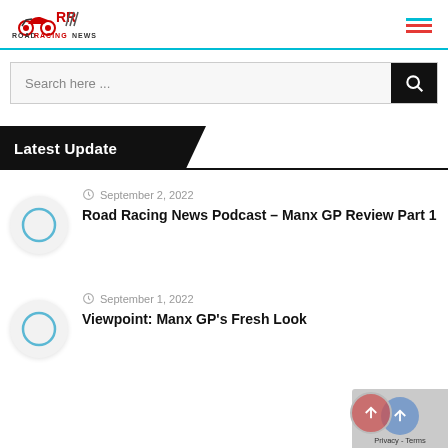Road Racing News — site header with logo and hamburger menu
Search here ...
Latest Update
September 2, 2022
Road Racing News Podcast – Manx GP Review Part 1
September 1, 2022
Viewpoint: Manx GP's Fresh Look